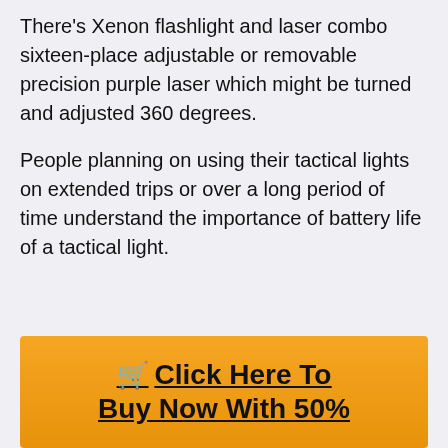There’s Xenon flashlight and laser combo sixteen-place adjustable or removable precision purple laser which might be turned and adjusted 360 degrees.
People planning on using their tactical lights on extended trips or over a long period of time understand the importance of battery life of a tactical light.
🛒 Click Here To Buy Now With 50%